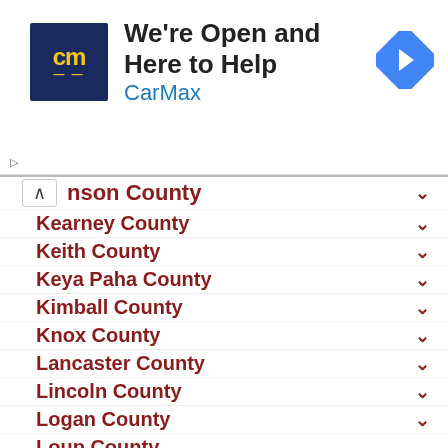[Figure (screenshot): CarMax advertisement banner with logo, text 'We're Open and Here to Help' and 'CarMax' in blue, and navigation arrow icon]
Johnson County
Kearney County
Keith County
Keya Paha County
Kimball County
Knox County
Lancaster County
Lincoln County
Logan County
Loup County